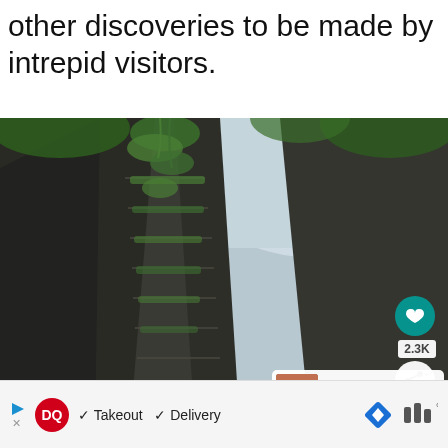other discoveries to be made by intrepid visitors.
[Figure (photo): Upward view of a tall moss-covered layered rock formation (sandstone cliff face) surrounded by green foliage and tree branches against a bright sky. Social media overlays visible: heart icon button (teal), share count 2.3K, share button, and a 'What's Next' card showing 'Exploring the Incredible N...']
WHAT'S NEXT → Exploring the Incredible N...
✓ Takeout  ✓ Delivery